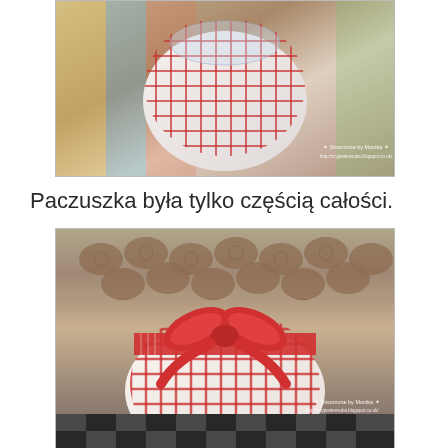[Figure (photo): A wrapped gift or jar covered in white fabric with red grid/checkered pattern, photographed from above on a colorful surface. Watermark reads 'Stworzone by Monika, http://czyjestemsoba.blogspot.co.uk/']
Paczuszka była tylko częścią całości.
[Figure (photo): A heart-shaped or round gift wrapped in white fabric with red checkered/grid pattern and a red ribbon bow tied on top, placed in front of a box of chocolates on a dark checkered background. Watermark reads 'Stworzone by Monika, http://czyjestemsoba.blogspot.co.uk/']